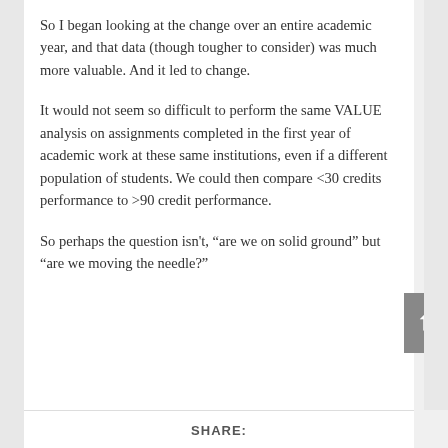So I began looking at the change over an entire academic year, and that data (though tougher to consider) was much more valuable. And it led to change.
It would not seem so difficult to perform the same VALUE analysis on assignments completed in the first year of academic work at these same institutions, even if a different population of students. We could then compare <30 credits performance to >90 credit performance.
So perhaps the question isn't, “are we on solid ground” but “are we moving the needle?”
SHARE: